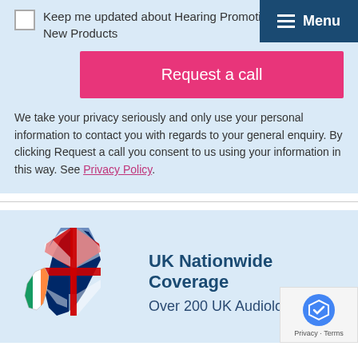Keep me updated about Hearing Promotions, News and New Products
Request a call
We take your privacy seriously and only use your personal information to contact you with regards to your general enquiry. By clicking Request a call you consent to us using your information in this way. See Privacy Policy.
[Figure (illustration): UK and Ireland map filled with Union Jack flag pattern and Ireland tricolour flag colours]
UK Nationwide Coverage
Over 200 UK Audiologists